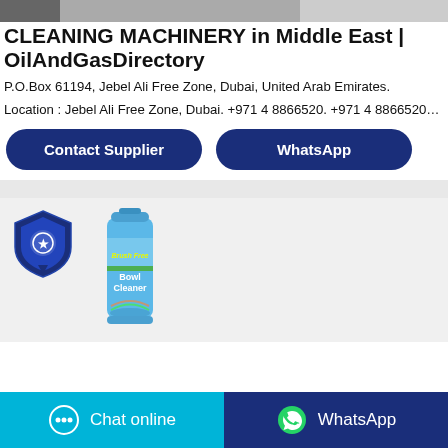[Figure (screenshot): Top banner strip showing cleaning machinery image, partially cropped]
CLEANING MACHINERY in Middle East | OilAndGasDirectory
P.O.Box 61194, Jebel Ali Free Zone, Dubai, United Arab Emirates.
Location : Jebel Ali Free Zone, Dubai. +971 4 8866520. +971 4 8866520…
[Figure (other): Contact Supplier button (dark blue rounded)]
[Figure (other): WhatsApp button (dark blue rounded)]
[Figure (logo): Company logo badge - shield shape with blue emblem]
[Figure (photo): Brush Free Bowl Cleaner spray can product image]
[Figure (other): Chat online button (cyan/teal)]
[Figure (other): WhatsApp button (dark blue) at bottom]